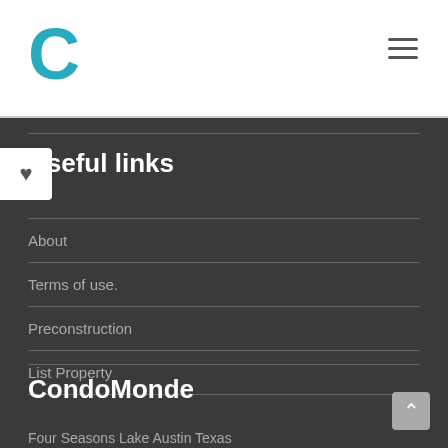C
Useful links
About
Terms of use.
Preconstruction
List Property
CondoMonde
Four Seasons Lake Austin Texas
CONTEXT
MIDTOWN LOFT by MICHAEL HABACHY